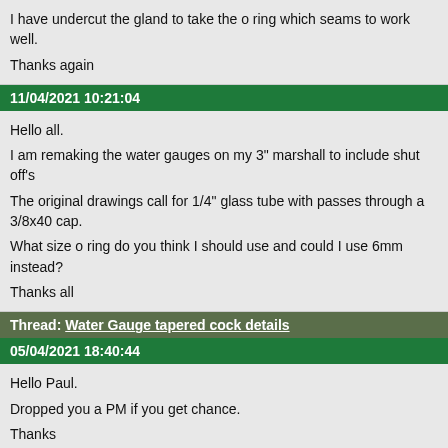I have undercut the gland to take the o ring which seams to work well.
Thanks again
11/04/2021 10:21:04
Hello all.
I am remaking the water gauges on my 3" marshall to include shut off's
The original drawings call for 1/4" glass tube with passes through a 3/8x40 cap.
What size o ring do you think I should use and could I use 6mm instead?
Thanks all
Thread: Water Gauge tapered cock details
05/04/2021 18:40:44
Hello Paul.
Dropped you a PM if you get chance.
Thanks
22/03/2021 22:39:45
Thanks David,